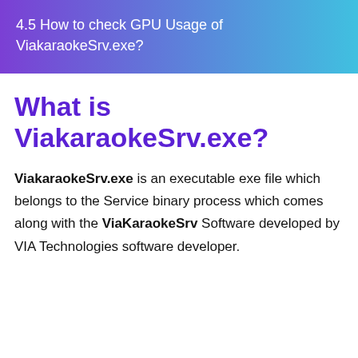4.5 How to check GPU Usage of ViakaraokeSrv.exe?
What is ViakaraokeSrv.exe?
ViakaraokeSrv.exe is an executable exe file which belongs to the Service binary process which comes along with the ViaKaraokeSrv Software developed by VIA Technologies software developer.